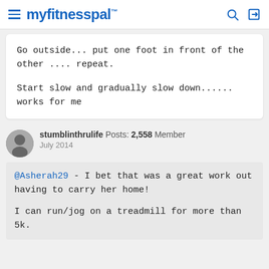myfitnesspal
Go outside... put one foot in front of the other .... repeat.

Start slow and gradually slow down...... works for me
stumblinthrulife Posts: 2,558 Member
July 2014
@Asherah29 - I bet that was a great work out having to carry her home!

I can run/jog on a treadmill for more than 5k.